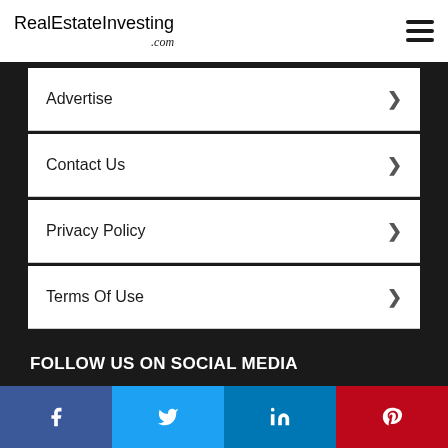RealEstateInvesting.com
Advertise
Contact Us
Privacy Policy
Terms Of Use
FOLLOW US ON SOCIAL MEDIA
[Figure (illustration): Social media icons: Facebook, Twitter, YouTube, Instagram, LinkedIn]
[Figure (illustration): Social share buttons: Facebook (blue), Twitter (light blue), LinkedIn (dark blue), Pinterest (red)]